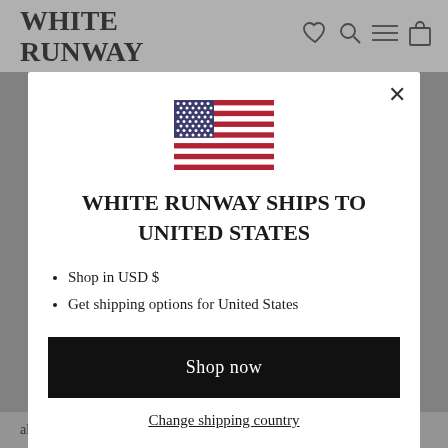WHITE RUNWAY
[Figure (illustration): US flag SVG illustration]
WHITE RUNWAY SHIPS TO UNITED STATES
Shop in USD $
Get shipping options for United States
Shop now
Change shipping country
along the bodice and waist and a thigh high side split.